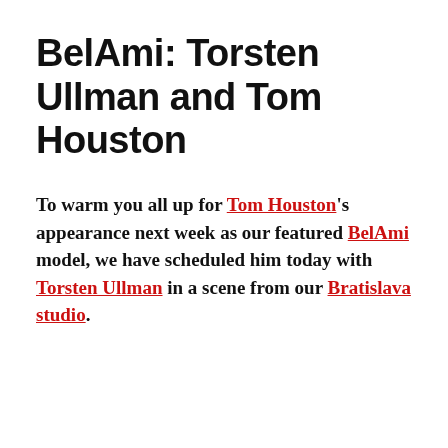BelAmi: Torsten Ullman and Tom Houston
To warm you all up for Tom Houston's appearance next week as our featured BelAmi model, we have scheduled him today with Torsten Ullman in a scene from our Bratislava studio.